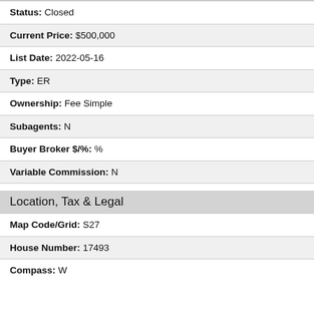Status: Closed
Current Price: $500,000
List Date: 2022-05-16
Type: ER
Ownership: Fee Simple
Subagents: N
Buyer Broker $/%: %
Variable Commission: N
Location, Tax & Legal
Map Code/Grid: S27
House Number: 17493
Compass: W